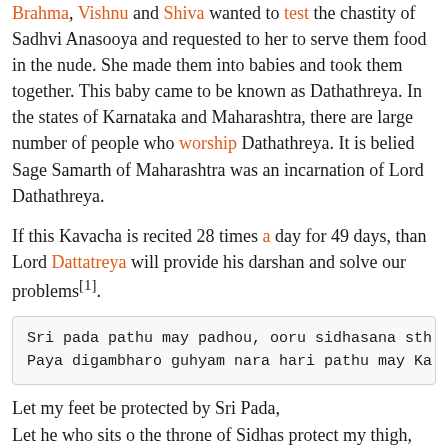Brahma, Vishnu and Shiva wanted to test the chastity of Sadhvi Anasooya and requested to her to serve them food in the nude. She made them into babies and took them together. This baby came to be known as Dathathreya. In the states of Karnataka and Maharashtra, there are large number of people who worship Dathathreya. It is belied Sage Samarth of Maharashtra was an incarnation of Lord Dathathreya.
If this Kavacha is recited 28 times a day for 49 days, than Lord Dattatreya will provide his darshan and solve our problems[1].
Sri pada pathu may padhou, ooru sidhasana sth
Paya digambharo guhyam nara hari pathu may Ka
Let my feet be protected by Sri Pada,
Let he who sits o the throne of Sidhas protect my thigh,
Let him who clothes with the direction protect my private parts,
Let God Nara Simha protect my hip.
Nabhim pathu jagath srushto, dharam pathu dha